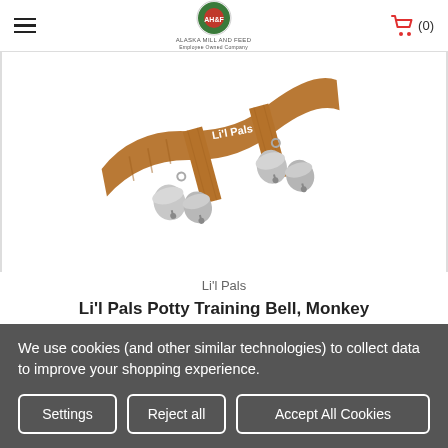Alaska Mill and Feed — Employee Owned Company | Cart (0)
[Figure (photo): Li'l Pals Potty Training Bell with brown suede strap and silver jingle bells, lying on white background. The strap is labeled Li'l Pals in white text.]
Li'l Pals
Li'l Pals Potty Training Bell, Monkey
$8.00
We use cookies (and other similar technologies) to collect data to improve your shopping experience.
Settings | Reject all | Accept All Cookies